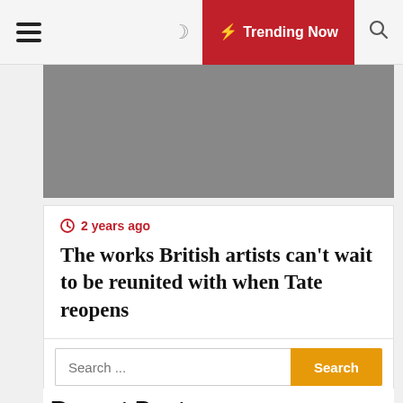☰  ☽  ⚡ Trending Now  🔍
[Figure (photo): Gray placeholder image for article thumbnail]
⏰ 2 years ago
The works British artists can't wait to be reunited with when Tate reopens
Search ...  [Search button]
Recent Posts
A Guide To Buying Different Types Of Entrance Doormats